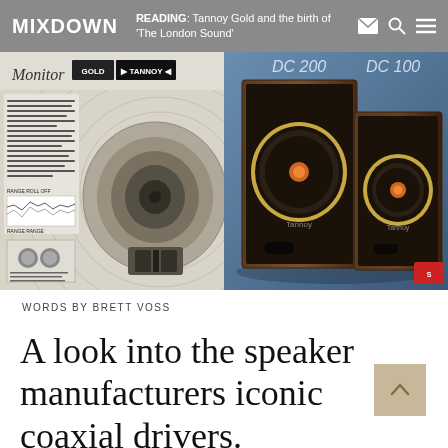MIXDOWN   READING: Tannoy Gold and the birth of 'The London Sound'
[Figure (photo): Two vintage Tannoy speaker advertisements side by side. Left: black-and-white Monitor Gold Tannoy speaker driver advertisement with product specs and frequency response graph. Right: color photograph of Tannoy DC 200 and DC 100 bookshelf speakers on a blue background.]
WORDS BY BRETT VOSS
A look into the speaker manufacturers iconic coaxial drivers.